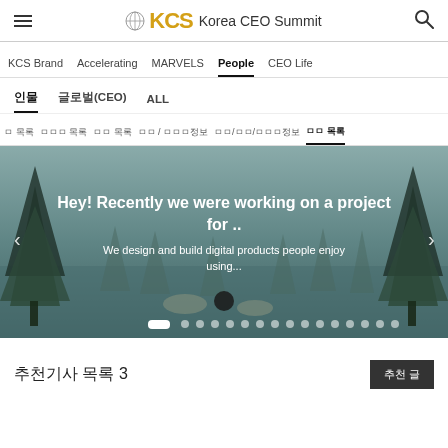KCS Korea CEO Summit
KCS Brand  Accelerating  MARVELS  People  CEO Life
인물  글로벌(CEO)  ALL
글 목록  채용정보 목록  공고 목록  리뷰 / 평점정보  업종/기업/인물정보  추천 목록
[Figure (photo): Misty lake scene with conifer trees on either side and rocks in the water. Overlay text reads: Hey! Recently we were working on a project for .. We design and build digital products people enjoy using...]
추천기사 목록 3
추천 글